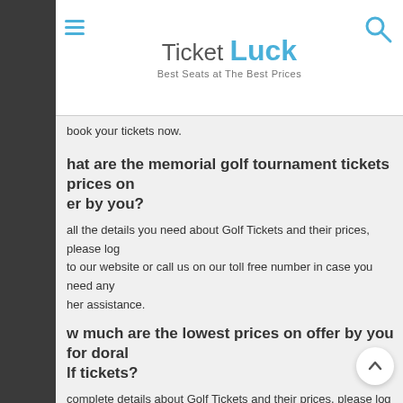Ticket Luck — Best Seats at The Best Prices
book your tickets now.
hat are the memorial golf tournament tickets prices on er by you?
all the details you need about Golf Tickets and their prices, please log to our website or call us on our toll free number in case you need any her assistance.
w much are the lowest prices on offer by you for doral lf tickets?
complete details about Golf Tickets and their prices, please log on to website or call us on our toll free number in case you need any further istance.
ll I be able to buy pga golf tournament tickets aft w days?